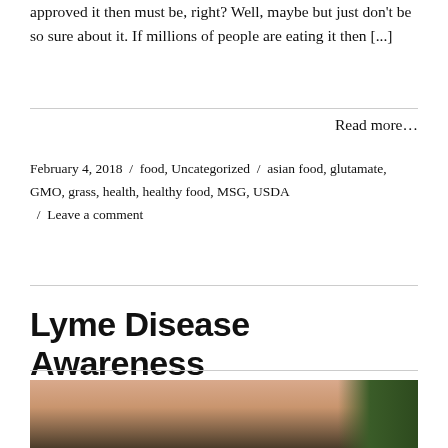approved it then must be, right? Well, maybe but just don't be so sure about it. If millions of people are eating it then [...]
Read more...
February 4, 2018 / food, Uncategorized / asian food, glutamate, GMO, grass, health, healthy food, MSG, USDA / Leave a comment
Lyme Disease Awareness
[Figure (photo): Close-up photo of skin with a tick or rash, with green grass/plant visible in background.]